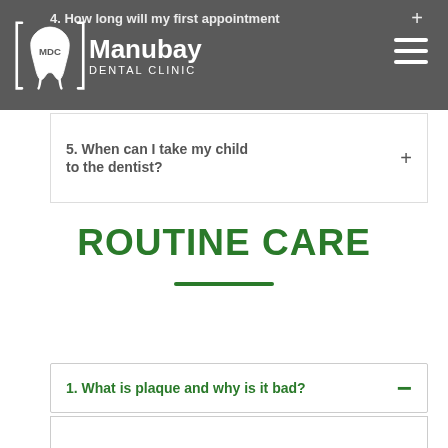MDC Manubay Dental Clinic
4. How long will my first appointment ...  +
5. When can I take my child to the dentist?  +
ROUTINE CARE
1. What is plaque and why is it bad?  —